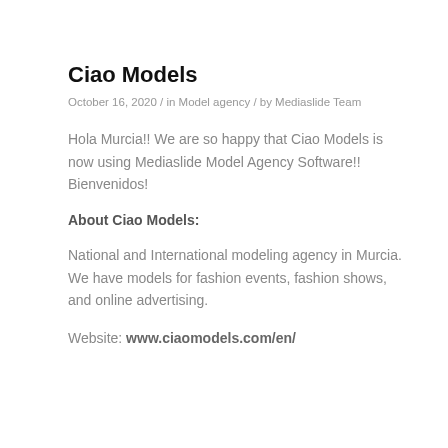Ciao Models
October 16, 2020  /  in Model agency  /  by Mediaslide Team
Hola Murcia!! We are so happy that Ciao Models is now using Mediaslide Model Agency Software!! Bienvenidos!
About Ciao Models:
National and International modeling agency in Murcia. We have models for fashion events, fashion shows, and online advertising.
Website: www.ciaomodels.com/en/